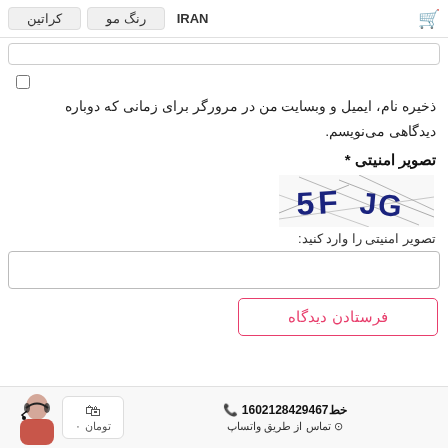IRAN | رنگ مو | کراتین
ذخیره نام، ایمیل و وبسایت من در مرورگر برای زمانی که دوباره دیدگاهی می‌نویسم.
* تصویر امنیتی
[Figure (other): CAPTCHA image showing characters '5FJGG' with distortion lines]
تصویر امنیتی را وارد کنید:
فرستادن دیدگاه
📞 16خط 02128429467 | تماس از طریق واتساپ